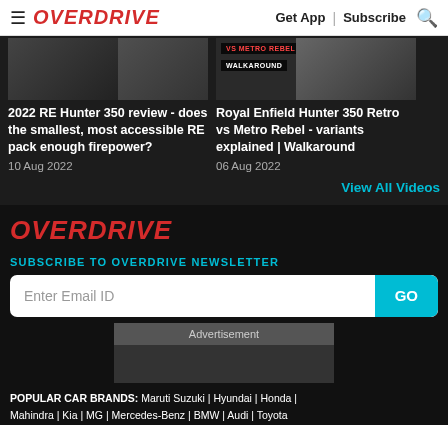OVERDRIVE | Get App | Subscribe
[Figure (screenshot): Thumbnail of 2022 RE Hunter 350 review video with REVIEW badge]
2022 RE Hunter 350 review - does the smallest, most accessible RE pack enough firepower?
10 Aug 2022
[Figure (screenshot): Thumbnail of Royal Enfield Hunter 350 Retro vs Metro Rebel walkaround video with WALKAROUND badge]
Royal Enfield Hunter 350 Retro vs Metro Rebel - variants explained | Walkaround
06 Aug 2022
View All Videos
OVERDRIVE
SUBSCRIBE TO OVERDRIVE NEWSLETTER
Enter Email ID
Advertisement
POPULAR CAR BRANDS: Maruti Suzuki | Hyundai | Honda | Mahindra | Kia | MG | Mercedes-Benz | BMW | Audi | Toyota